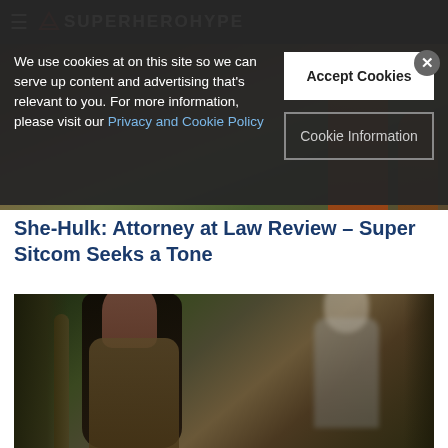SuperHeroHype
We use cookies at on this site so we can serve up content and advertising that's relevant to you. For more information, please visit our Privacy and Cookie Policy
She-Hulk: Attorney at Law Review – Super Sitcom Seeks a Tone
[Figure (photo): Scene from a movie/show showing a young woman with dark hair and blood on her face sitting outdoors in a forest setting, with a muscular figure in the background.]